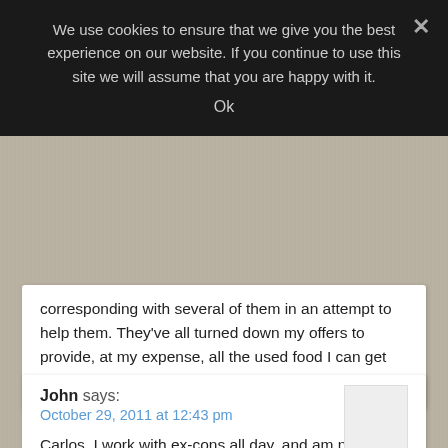We use cookies to ensure that we give you the best experience on our website. If you continue to use this site we will assume that you are happy with it.
Ok
corresponding with several of them in an attempt to help them. They've all turned down my offers to provide, at my expense, all the used food I can get my hands on.
John says:
October 29, 2011 at 12:43 pm

Carlos, I work with ex-cons all day, and am no stranger to the street. I am more afraid of the police and their abuses than the thugs.